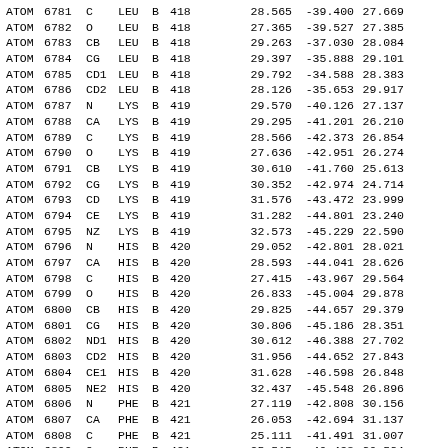| RecType | Serial | Atom | Res | Chain | ResSeq |  | X | Y | Z |
| --- | --- | --- | --- | --- | --- | --- | --- | --- | --- |
| ATOM | 6781 | C | LEU | B | 418 |  | 28.565 | -39.400 | 27.669 |
| ATOM | 6782 | O | LEU | B | 418 |  | 27.365 | -39.527 | 27.385 |
| ATOM | 6783 | CB | LEU | B | 418 |  | 29.263 | -37.030 | 28.084 |
| ATOM | 6784 | CG | LEU | B | 418 |  | 29.397 | -35.888 | 29.101 |
| ATOM | 6785 | CD1 | LEU | B | 418 |  | 29.792 | -34.588 | 28.383 |
| ATOM | 6786 | CD2 | LEU | B | 418 |  | 28.126 | -35.653 | 29.917 |
| ATOM | 6787 | N | LYS | B | 419 |  | 29.570 | -40.126 | 27.137 |
| ATOM | 6788 | CA | LYS | B | 419 |  | 29.295 | -41.201 | 26.210 |
| ATOM | 6789 | C | LYS | B | 419 |  | 28.566 | -42.373 | 26.854 |
| ATOM | 6790 | O | LYS | B | 419 |  | 27.636 | -42.951 | 26.274 |
| ATOM | 6791 | CB | LYS | B | 419 |  | 30.610 | -41.760 | 25.613 |
| ATOM | 6792 | CG | LYS | B | 419 |  | 30.352 | -42.974 | 24.714 |
| ATOM | 6793 | CD | LYS | B | 419 |  | 31.576 | -43.472 | 23.999 |
| ATOM | 6794 | CE | LYS | B | 419 |  | 31.282 | -44.801 | 23.240 |
| ATOM | 6795 | NZ | LYS | B | 419 |  | 32.573 | -45.229 | 22.590 |
| ATOM | 6796 | N | HIS | B | 420 |  | 29.052 | -42.801 | 28.021 |
| ATOM | 6797 | CA | HIS | B | 420 |  | 28.593 | -44.041 | 28.626 |
| ATOM | 6798 | C | HIS | B | 420 |  | 27.415 | -43.967 | 29.564 |
| ATOM | 6799 | O | HIS | B | 420 |  | 26.833 | -45.004 | 29.878 |
| ATOM | 6800 | CB | HIS | B | 420 |  | 29.825 | -44.657 | 29.379 |
| ATOM | 6801 | CG | HIS | B | 420 |  | 30.806 | -45.186 | 28.351 |
| ATOM | 6802 | ND1 | HIS | B | 420 |  | 30.612 | -46.388 | 27.702 |
| ATOM | 6803 | CD2 | HIS | B | 420 |  | 31.956 | -44.652 | 27.843 |
| ATOM | 6804 | CE1 | HIS | B | 420 |  | 31.628 | -46.598 | 26.848 |
| ATOM | 6805 | NE2 | HIS | B | 420 |  | 32.437 | -45.548 | 26.896 |
| ATOM | 6806 | N | PHE | B | 421 |  | 27.119 | -42.808 | 30.156 |
| ATOM | 6807 | CA | PHE | B | 421 |  | 26.053 | -42.694 | 31.137 |
| ATOM | 6808 | C | PHE | B | 421 |  | 25.111 | -41.491 | 31.007 |
| ATOM | 6809 | O | PHE | B | 421 |  | 25.515 | -40.428 | 30.534 |
| ATOM | 6810 | CB | PHE | B | 421 |  | 26.732 | -42.492 | 32.503 |